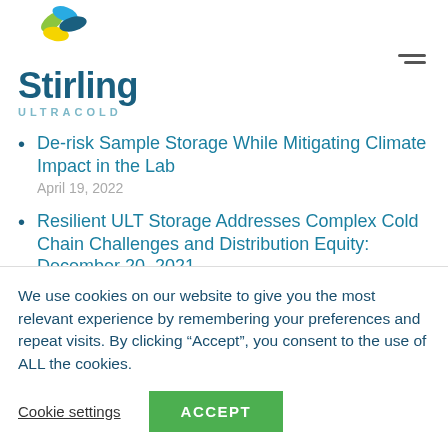[Figure (logo): Stirling Ultracold logo with colorful leaf design and text 'Stirling ULTRACOLD']
De-risk Sample Storage While Mitigating Climate Impact in the Lab
April 19, 2022
Resilient ULT Storage Addresses Complex Cold Chain Challenges and Distribution Equity December 20, 2021
We use cookies on our website to give you the most relevant experience by remembering your preferences and repeat visits. By clicking “Accept”, you consent to the use of ALL the cookies.
Cookie settings | ACCEPT